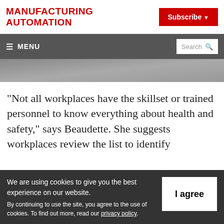MANUFACTURING AUTOMATION
Subscribe
≡ MENU  Search
[Figure (photo): Dark grey banner image area, partial screenshot of article header]
“Not all workplaces have the skillset or trained personnel to know everything about health and safety,” says Beaudette. She suggests workplaces review the list to identify
We are using cookies to give you the best experience on our website.
By continuing to use the site, you agree to the use of cookies. To find out more, read our privacy policy.